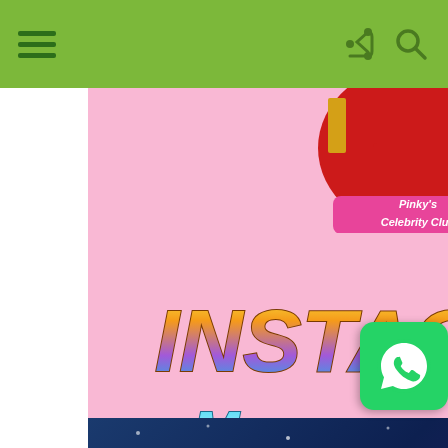[Figure (screenshot): Website navigation bar with green background showing hamburger menu icon on left and share/search icons on right]
[Figure (infographic): Pink advertisement banner for 'Pinky's Celebrity Club' Instagram Management Bot with colorful gradient text showing 'INSTAGRAM' and 'Management Bot' with a pink 'Download Now' button]
ADVERTISE HERE
[Figure (photo): Dark blue banner at the bottom with star/sparkle decorations]
[Figure (illustration): WhatsApp green circular icon button overlay]
[Figure (screenshot): reCAPTCHA verification widget showing Privacy - Terms text]